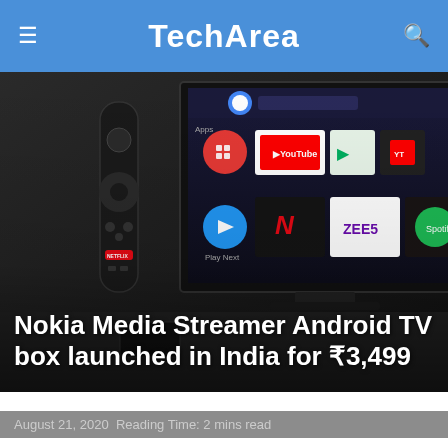TechArea
[Figure (photo): Nokia Media Streamer Android TV box and remote control in front of a large smart TV displaying Android TV interface with YouTube, Netflix, Zee5, Spotify and other app icons.]
Nokia Media Streamer Android TV box launched in India for ₹3,499
August 21, 2020  Reading Time: 2 mins read